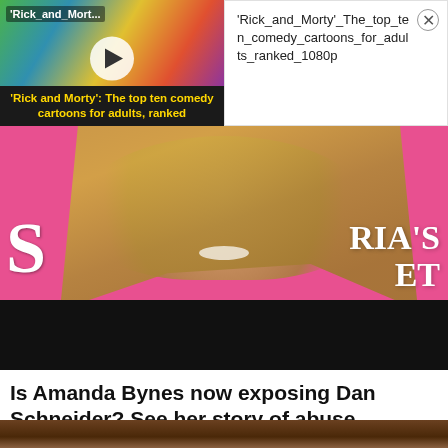[Figure (screenshot): Video thumbnail for Rick and Morty cartoon with play button overlay and yellow caption bar reading: 'Rick and Morty': The top ten comedy cartoons for adults, ranked]
'Rick_and_Morty'_The_top_ten_comedy_cartoons_for_adults_ranked_1080p
[Figure (photo): Woman with long blonde hair smiling at camera against pink background with partial Victoria's Secret signage visible]
Is Amanda Bynes now exposing Dan Schneider? See her story of abuse
Film Daily
[Figure (photo): Close-up photo of hands holding paper money/currency]